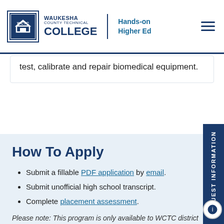WAUKESHA COUNTY TECHNICAL COLLEGE | Hands-on Higher Ed
test, calibrate and repair biomedical equipment.
How To Apply
Submit a fillable PDF application by email.
Submit unofficial high school transcript.
Complete placement assessment.
Please note: This program is only available to WCTC district residents.